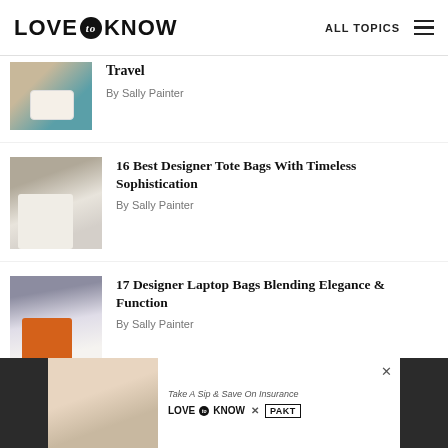LOVE to KNOW | ALL TOPICS
[Figure (photo): Partial view of person wearing camel coat with white designer crossbody bag]
Travel
By Sally Painter
[Figure (photo): Person carrying white designer tote bag with brown patterned bag in background]
16 Best Designer Tote Bags With Timeless Sophistication
By Sally Painter
[Figure (photo): Person holding orange designer laptop bag, wearing white pants]
17 Designer Laptop Bags Blending Elegance & Function
By Sally Painter
[Figure (photo): Advertisement banner: woman sitting on couch with bag. Take A Sip & Save On Insurance. LOVE TO KNOW x PAKT]